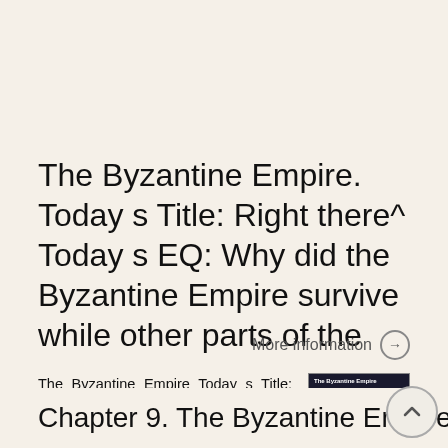The Byzantine Empire. Today s Title: Right there^ Today s EQ: Why did the Byzantine Empire survive while other parts of the
The Byzantine Empire Today s Title: Right there^ Today s EQ: Why did the Byzantine Empire survive while other parts of the Roman Empire did not? Where did the Byzantine Empire come from? As we know, The
[Figure (photo): Thumbnail image showing a dark background with text 'The Byzantine Empire' at top, a pink map below on the left, and a gold coin on the right]
More information →
Chapter 9. The Byzantine Empire, Russia,